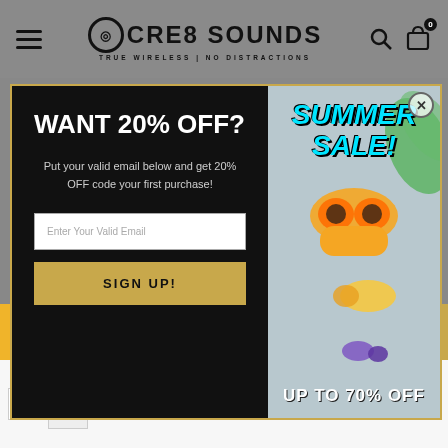CRE8 SOUNDS — TRUE WIRELESS | NO DISTRACTIONS
WANT 20% OFF?
Put your valid email below and get 20% OFF code your first purchase!
Enter Your Valid Email
SIGN UP!
[Figure (photo): Summer Sale promotional image with yellow/orange wireless earbuds and case on marble surface with green leaves. Text overlay: SUMMER SALE! and UP TO 70% OFF]
CR8-MASK WIT...  $25.00 USD
★★★★☆
ADD TO CART
Your browser settings do not allow cross-site tracking for advertising. Click on this banner to allow us to use cross-site tracking to better ads for you. Learn more or turn off in the Ad and Tracking Settings by clicking here. This message only appears once.